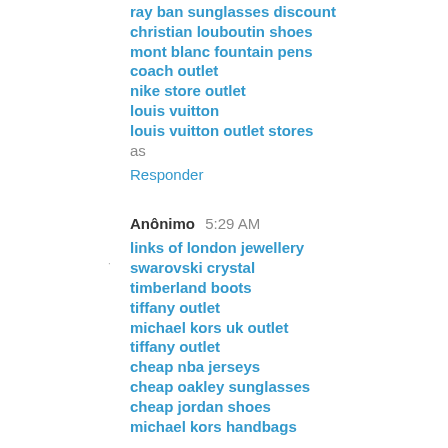ray ban sunglasses discount
christian louboutin shoes
mont blanc fountain pens
coach outlet
nike store outlet
louis vuitton
louis vuitton outlet stores
as
Responder
Anônimo  5:29 AM
links of london jewellery
swarovski crystal
timberland boots
tiffany outlet
michael kors uk outlet
tiffany outlet
cheap nba jerseys
cheap oakley sunglasses
cheap jordan shoes
michael kors handbags